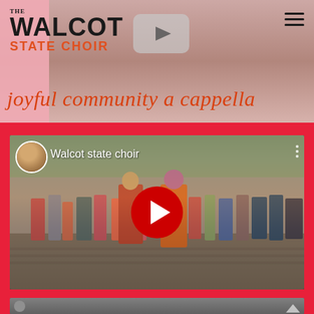[Figure (screenshot): Website header banner for The Walcot State Choir with group photo background, logo, YouTube icon, hamburger menu, and tagline 'joyful community a cappella']
[Figure (screenshot): Embedded YouTube video thumbnail showing Walcot state choir performing outdoors with red play button overlay]
[Figure (screenshot): Partial second video thumbnail at bottom of page]